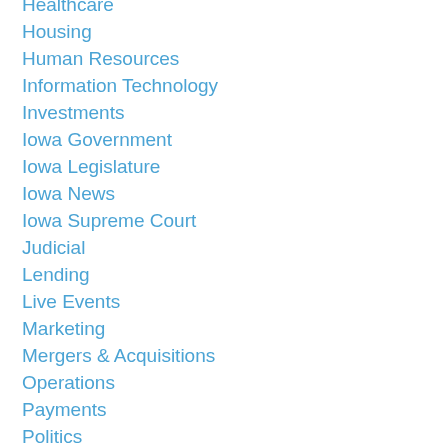Healthcare
Housing
Human Resources
Information Technology
Investments
Iowa Government
Iowa Legislature
Iowa News
Iowa Supreme Court
Judicial
Lending
Live Events
Marketing
Mergers & Acquisitions
Operations
Payments
Politics
Productivity
Real Estate
Regulations/Policy
Rural